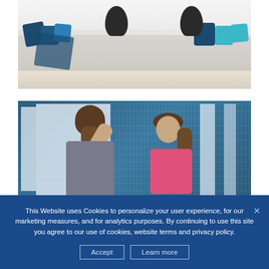[Figure (photo): Interior design photo: modern white sectional sofa with dark blue and teal throw pillows and a draped blanket, two black hourglass-shaped side tables, light wood floor, bright room.]
[Figure (photo): Bathroom photo: woman seen from behind with ponytail reaching up to her hair, looking at herself in a mirror with blue mosaic tile background; her reflection shows her face wearing a pink sports top.]
This Website uses Cookies to personalize your user experience, for our marketing measures, and for analytics purposes. By continuing to use this site you agree to our use of cookies, website terms and privacy policy.
Accept
Learn more